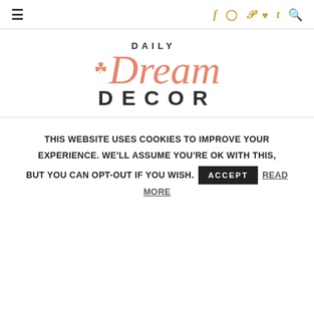≡  f  Instagram  Pinterest  ♥  t  🔍
[Figure (logo): Daily Dream Decor logo — stylized script 'Dream' in salmon/coral with a cloud icon, 'DAILY' above in bold uppercase, 'DECOR' below in bold uppercase dark letters]
THIS WEBSITE USES COOKIES TO IMPROVE YOUR EXPERIENCE. WE'LL ASSUME YOU'RE OK WITH THIS, BUT YOU CAN OPT-OUT IF YOU WISH. ACCEPT READ MORE